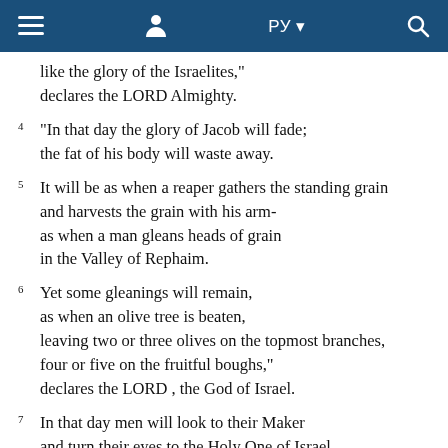≡  👤  РУ ▾  🔍
like the glory of the Israelites,"
declares the LORD Almighty.
4  "In that day the glory of Jacob will fade;
the fat of his body will waste away.
5  It will be as when a reaper gathers the standing grain
and harvests the grain with his arm-
as when a man gleans heads of grain
in the Valley of Rephaim.
6  Yet some gleanings will remain,
as when an olive tree is beaten,
leaving two or three olives on the topmost branches,
four or five on the fruitful boughs,"
declares the LORD , the God of Israel.
7  In that day men will look to their Maker
and turn their eyes to the Holy One of Israel.
8  They will not look to the altars,